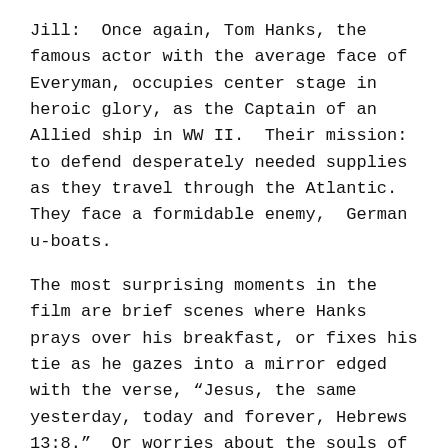Jill:  Once again, Tom Hanks, the famous actor with the average face of Everyman, occupies center stage in heroic glory, as the Captain of an Allied ship in WW II.  Their mission: to defend desperately needed supplies as they travel through the Atlantic.  They face a formidable enemy,  German u-boats.
The most surprising moments in the film are brief scenes where Hanks prays over his breakfast, or fixes his tie as he gazes into a mirror edged with the verse, “Jesus, the same yesterday, today and forever, Hebrews 13:8.”  Or worries about the souls of the Germans he just killed.
Captain Krause is a man of faith.  The story unfolds as the intense 36 hour fight to protect the convoy.   Tom Hanks exudes believability Krause,  directing the ship through icy winter seas and torpedo attacks.   When the Germans